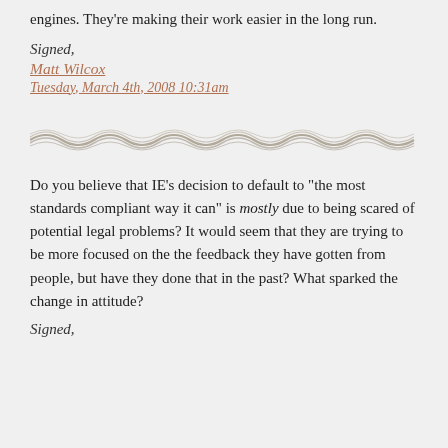engines. They're making their work easier in the long run.
Signed,
Matt Wilcox
Tuesday, March 4th, 2008 10:31am
[Figure (illustration): Decorative wavy divider line in tan/grey color]
Do you believe that IE’s decision to default to “the most standards compliant way it can” is mostly due to being scared of potential legal problems? It would seem that they are trying to be more focused on the the feedback they have gotten from people, but have they done that in the past? What sparked the change in attitude?
Signed,